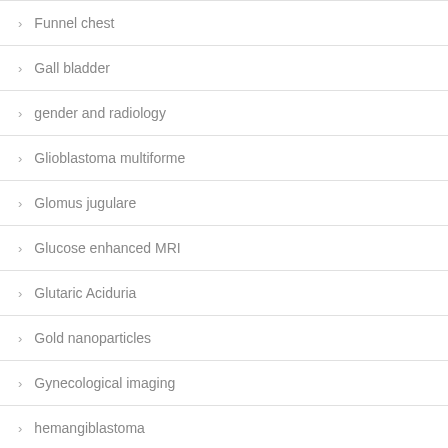Funnel chest
Gall bladder
gender and radiology
Glioblastoma multiforme
Glomus jugulare
Glucose enhanced MRI
Glutaric Aciduria
Gold nanoparticles
Gynecological imaging
hemangiblastoma
Hemimegalencephaly
Hepatocellular carcinoma
HIV encephalitis